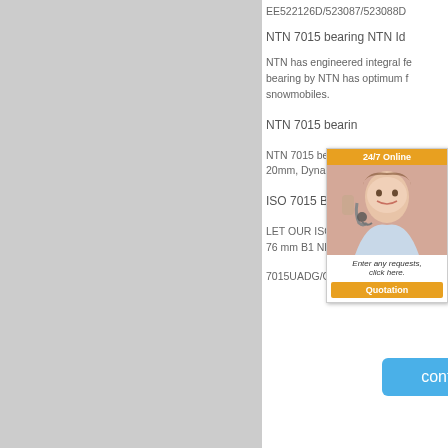[Figure (other): Gray left panel background, approximately 58% of page width]
EE522126D/523087/523088D
NTN 7015 bearing NTN Id
NTN has engineered integral fe bearing by NTN has optimum f snowmobiles.
NTN 7015 bearin
NTN 7015 bearings 20mm, Dynamic Load Rating: 4
ISO 7015 BDT angular con
LET OUR ISO 7015 BDT angu 76 mm B1 NEED  What Is 7015
7015UADG/GNP42U3G B
[Figure (other): Customer service chat widget showing a woman with headset, 24/7 Online header, Enter any requests click here text, and Quotation button]
[Figure (other): Blue contact button]